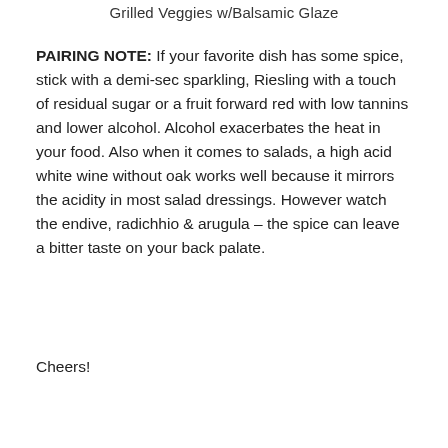Grilled Veggies w/Balsamic Glaze
PAIRING NOTE: If your favorite dish has some spice, stick with a demi-sec sparkling, Riesling with a touch of residual sugar or a fruit forward red with low tannins and lower alcohol. Alcohol exacerbates the heat in your food. Also when it comes to salads, a high acid white wine without oak works well because it mirrors the acidity in most salad dressings. However watch the endive, radichhio & arugula – the spice can leave a bitter taste on your back palate.
Cheers!